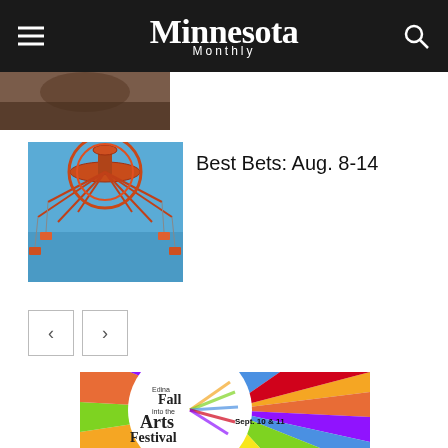Minnesota Monthly
[Figure (photo): Partial thumbnail of an article image visible at top left below header]
[Figure (photo): Thumbnail of a colorful swing ride (carnival ride) against blue sky]
Best Bets: Aug. 8-14
[Figure (infographic): Edina Fall into the Arts Festival advertisement, Sept. 10 & 11, colorful radiating design with white circle containing event text]